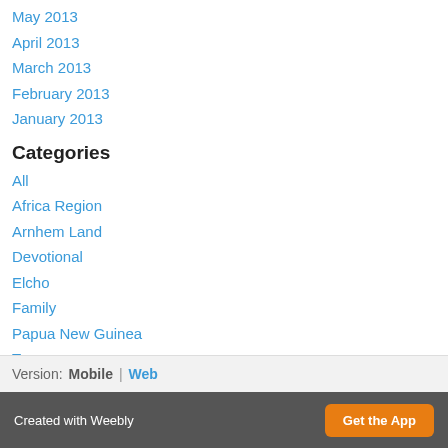May 2013
April 2013
March 2013
February 2013
January 2013
Categories
All
Africa Region
Arnhem Land
Devotional
Elcho
Family
Papua New Guinea
Team
RSS Feed
Version: Mobile | Web
Created with Weebly  Get the App